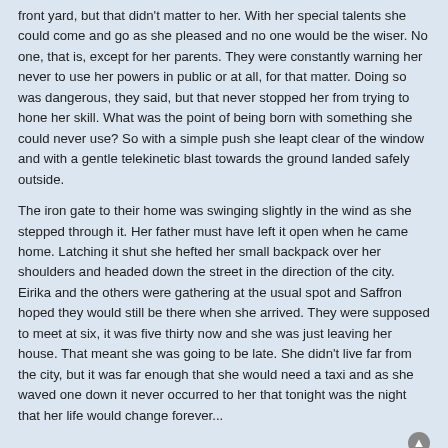front yard, but that didn't matter to her. With her special talents she could come and go as she pleased and no one would be the wiser. No one, that is, except for her parents. They were constantly warning her never to use her powers in public or at all, for that matter. Doing so was dangerous, they said, but that never stopped her from trying to hone her skill. What was the point of being born with something she could never use? So with a simple push she leapt clear of the window and with a gentle telekinetic blast towards the ground landed safely outside.
The iron gate to their home was swinging slightly in the wind as she stepped through it. Her father must have left it open when he came home. Latching it shut she hefted her small backpack over her shoulders and headed down the street in the direction of the city. Eirika and the others were gathering at the usual spot and Saffron hoped they would still be there when she arrived. They were supposed to meet at six, it was five thirty now and she was just leaving her house. That meant she was going to be late. She didn't live far from the city, but it was far enough that she would need a taxi and as she waved one down it never occurred to her that tonight was the night that her life would change forever...
Pryde
Pryngles
Re: Discord and Harmony